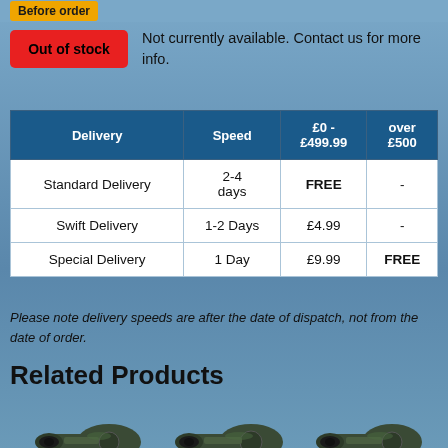Before order
Out of stock – Not currently available. Contact us for more info.
| Delivery | Speed | £0 - £499.99 | over £500 |
| --- | --- | --- | --- |
| Standard Delivery | 2-4 days | FREE | - |
| Swift Delivery | 1-2 Days | £4.99 | - |
| Special Delivery | 1 Day | £9.99 | FREE |
Please note delivery speeds are after the date of dispatch, not from the date of order.
Related Products
[Figure (photo): Three spotting scope product images shown side by side]
[Figure (photo): Spotting scope product image 2]
[Figure (photo): Spotting scope product image 3]